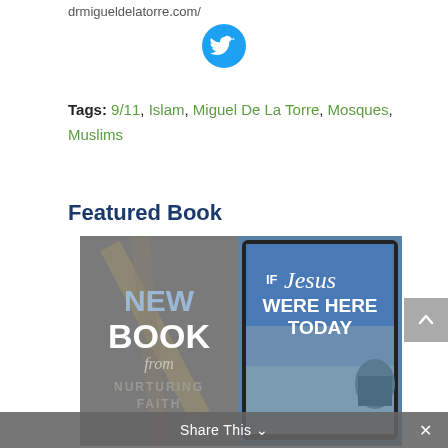drmigueldelatorre.com/
[Figure (illustration): Twitter bird icon — white bird on a blue circle background]
Tags: 9/11, Islam, Miguel De La Torre, Mosques, Muslims
Featured Book
[Figure (photo): Book promotion image showing 'NEW BOOK from NURTURING FAITH' on the left with a cross background, and a tablet showing 'If Jesus Were Here Today' book cover with a church/Jerusalem image on the right.]
Share This